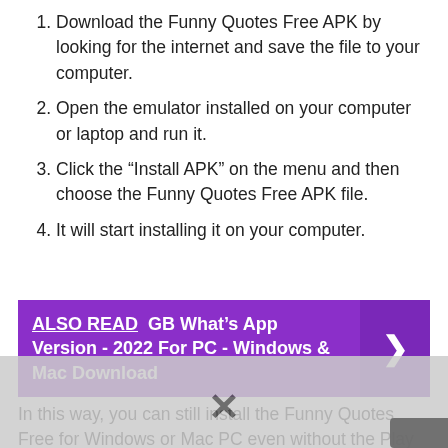Download the Funny Quotes Free APK by looking for the internet and save the file to your computer.
Open the emulator installed on your computer or laptop and run it.
Click the “Install APK” on the menu and then choose the Funny Quotes Free APK file.
It will start installing it on your computer.
ALSO READ  GB What’s App Version - 2022 For PC - Windows & Mac Download
In this way, you can still install the Funny Quotes Free for Windows or Mac PC even without the Play Store. But using this method will prevent you fr…